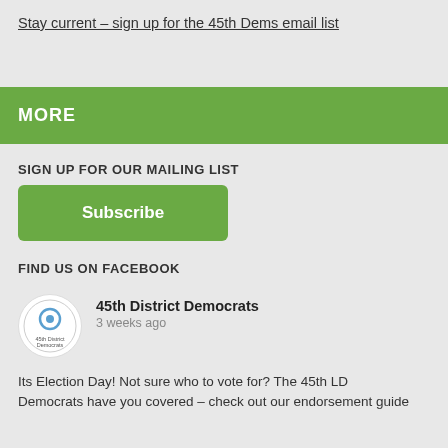Stay current – sign up for the 45th Dems email list
MORE
SIGN UP FOR OUR MAILING LIST
Subscribe
FIND US ON FACEBOOK
45th District Democrats
3 weeks ago
Its Election Day! Not sure who to vote for? The 45th LD Democrats have you covered – check out our endorsement guide